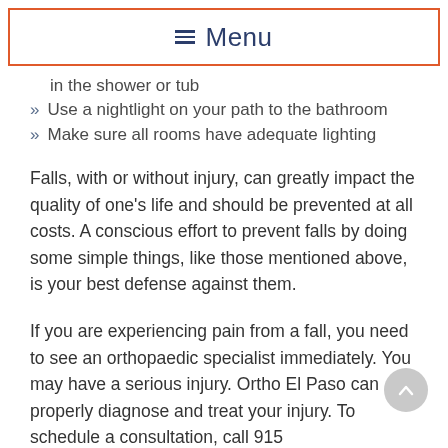≡ Menu
in the shower or tub
Use a nightlight on your path to the bathroom
Make sure all rooms have adequate lighting
Falls, with or without injury, can greatly impact the quality of one's life and should be prevented at all costs. A conscious effort to prevent falls by doing some simple things, like those mentioned above, is your best defense against them.
If you are experiencing pain from a fall, you need to see an orthopaedic specialist immediately. You may have a serious injury. Ortho El Paso can properly diagnose and treat your injury. To schedule a consultation, call 915